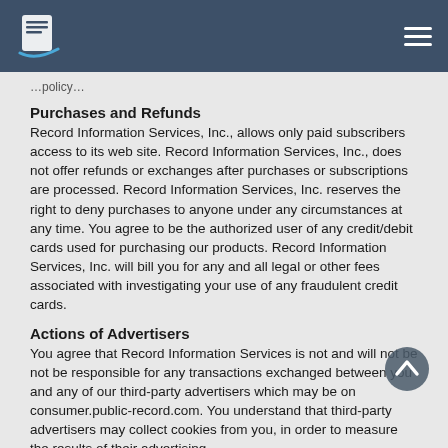Purchases and Refunds
Record Information Services, Inc., allows only paid subscribers access to its web site. Record Information Services, Inc., does not offer refunds or exchanges after purchases or subscriptions are processed. Record Information Services, Inc. reserves the right to deny purchases to anyone under any circumstances at any time. You agree to be the authorized user of any credit/debit cards used for purchasing our products. Record Information Services, Inc. will bill you for any and all legal or other fees associated with investigating your use of any fraudulent credit cards.
Actions of Advertisers
You agree that Record Information Services is not and will not be not be responsible for any transactions exchanged between you and any of our third-party advertisers which may be on consumer.public-record.com. You understand that third-party advertisers may collect cookies from you, in order to measure the results of their advertising.
Contacting Us